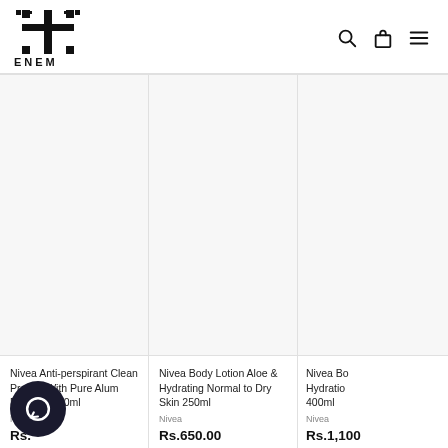[Figure (logo): ENEM brand logo with stylized gothic letter mark and ENEM wordmark below]
[Figure (infographic): Navigation icons: search (magnifying glass), bag/cart, and hamburger menu]
[Figure (photo): Product image placeholder for Nivea Anti-perspirant Clean Protect With Pure Alum Deo Stick 40ml]
Nivea Anti-perspirant Clean Protect With Pure Alum Deo Stick 40ml
Nivea
Rs.
[Figure (photo): Product image placeholder for Nivea Body Lotion Aloe & Hydrating Normal to Dry Skin 250ml]
Nivea Body Lotion Aloe & Hydrating Normal to Dry Skin 250ml
Nivea
Rs.650.00
[Figure (photo): Product image placeholder for Nivea Body Lotion Hydration 400ml (partially visible)]
Nivea Bo Hydratio 400ml
Nivea
Rs.1,100